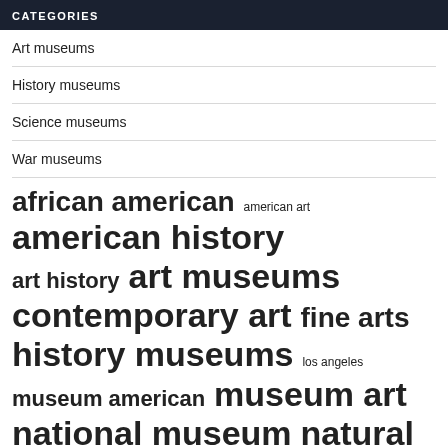CATEGORIES
Art museums
History museums
Science museums
War museums
african american  american art  american history  art history  art museums  contemporary art  fine arts  history museums  los angeles  museum american  museum art  national museum  natural history